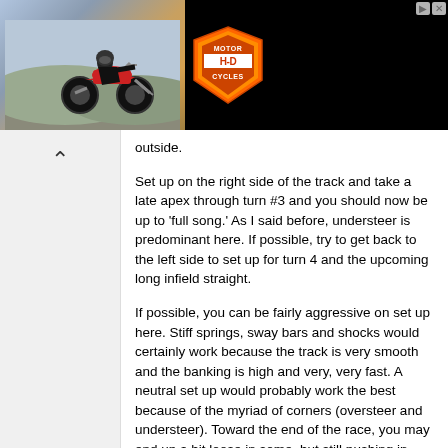[Figure (photo): Advertisement banner for John Elway Harley-Davidson with motorcycle image, Harley-Davidson shield logo, 'JOHN ELWAY HARLEY-DAVIDSON' text and 'FURTHER. FASTER' tagline]
outside.
Set up on the right side of the track and take a late apex through turn #3 and you should now be up to 'full song.' As I said before, understeer is predominant here. If possible, try to get back to the left side to set up for turn 4 and the upcoming long infield straight.
If possible, you can be fairly aggressive on set up here. Stiff springs, sway bars and shocks would certainly work because the track is very smooth and the banking is high and very, very fast. A neutral set up would probably work the best because of the myriad of corners (oversteer and understeer). Toward the end of the race, you may end up a bit loose in some, but still pushing in others. The banking (NASCAR 3 and 4) and turn